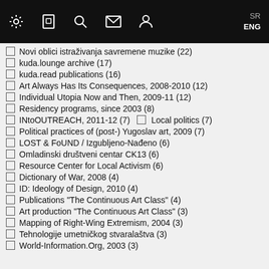SR ENG [navigation icons: settings, bookmark, search, mail, user]
Novi oblici istraživanja savremene muzike (22)
kuda.lounge archive (17)
kuda.read publications (16)
Art Always Has Its Consequences, 2008-2010 (12)
Individual Utopia Now and Then, 2009-11 (12)
Residency programs, since 2003 (8)
INtoOUTREACH, 2011-12 (7)   Local politics (7)
Political practices of (post-) Yugoslav art, 2009 (7)
LOST & FoUND / Izgubljeno-Nađeno (6)
Omladinski društveni centar CK13 (6)
Resource Center for Local Activism (6)
Dictionary of War, 2008 (4)
ID: Ideology of Design, 2010 (4)
Publications "The Continuous Art Class" (4)
Art production "The Continuous Art Class" (3)
Mapping of Right-Wing Extremism, 2004 (3)
Tehnologije umetničkog stvaralaštva (3)
World-Information.Org, 2003 (3)